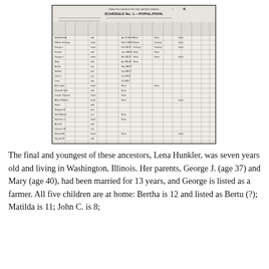[Figure (other): Scanned image of the Twelfth Census of the United States, Schedule No. 1 - Population form, showing handwritten entries for multiple households in Washington, Illinois, including the Hunkler family.]
The final and youngest of these ancestors, Lena Hunkler, was seven years old and living in Washington, Illinois. Her parents, George J. (age 37) and Mary (age 40), had been married for 13 years, and George is listed as a farmer. All five children are at home: Bertha is 12 and listed as Bertu (?); Matilda is 11; John C. is 8;